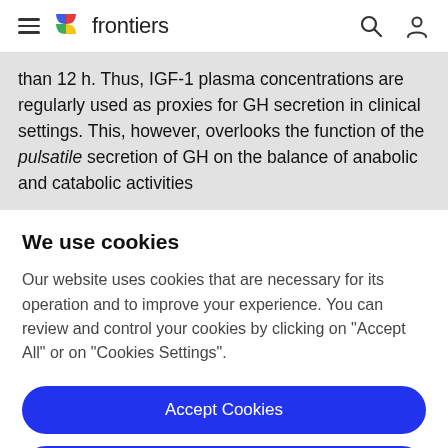frontiers
than 12 h. Thus, IGF-1 plasma concentrations are regularly used as proxies for GH secretion in clinical settings. This, however, overlooks the function of the pulsatile secretion of GH on the balance of anabolic and catabolic activities
We use cookies
Our website uses cookies that are necessary for its operation and to improve your experience. You can review and control your cookies by clicking on "Accept All" or on "Cookies Settings".
Accept Cookies
Cookies Settings